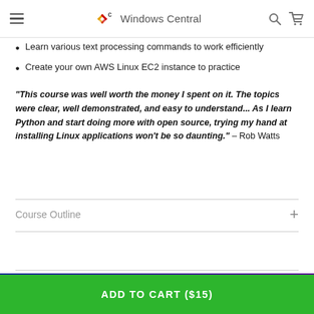Windows Central
Learn various text processing commands to work efficiently
Create your own AWS Linux EC2 instance to practice
"This course was well worth the money I spent on it. The topics were clear, well demonstrated, and easy to understand... As I learn Python and start doing more with open source, trying my hand at installing Linux applications won't be so daunting." – Rob Watts
Course Outline
[Figure (illustration): Colorful banner with purple and blue gradient background with decorative icons]
ADD TO CART ($15)